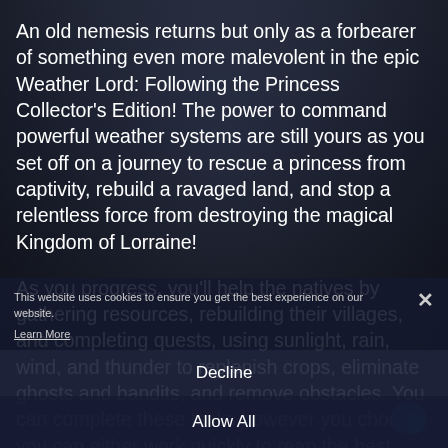An old nemesis returns but only as a forbearer of something even more malevolent in the epic Weather Lord: Following the Princess Collector's Edition! The power to command powerful weather systems are still yours as you set off on a journey to rescue a princess from captivity, rebuild a ravaged land, and stop a relentless force from destroying the magical Kingdom of Lorraine!

As you progress, you'll help the natives by gathering resources, rebuilding their villages, and completing quests, using sunlight, rain, wind, and thunder to replenish crops, eliminate ghosts and bandits, and remove obstacles. You can complete these tasks however you choose: you can either work quickly to reap the best rewards, or take your time and enjoy gameplay.
This website uses cookies to ensure you get the best experience on our website.
Learn More
Decline
Allow All